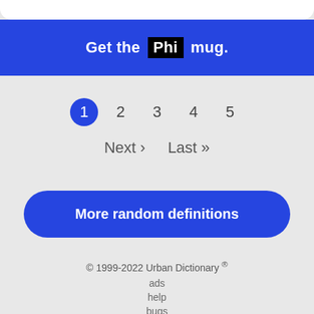Get the Phi mug.
1 2 3 4 5
Next › Last »
More random definitions
© 1999-2022 Urban Dictionary ® ads help bugs dmca privacy terms of service